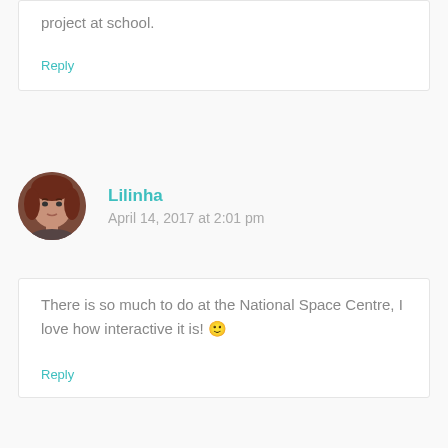project at school.
Reply
Lilinha
April 14, 2017 at 2:01 pm
There is so much to do at the National Space Centre, I love how interactive it is! 🙂
Reply